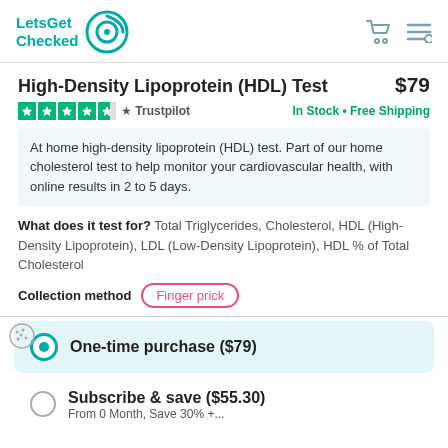LetsGet Checked
High-Density Lipoprotein (HDL) Test $79
In Stock • Free Shipping
At home high-density lipoprotein (HDL) test. Part of our home cholesterol test to help monitor your cardiovascular health, with online results in 2 to 5 days.
What does it test for? Total Triglycerides, Cholesterol, HDL (High-Density Lipoprotein), LDL (Low-Density Lipoprotein), HDL % of Total Cholesterol
Collection method  Finger prick
One-time purchase ($79)
Subscribe & save ($55.30)